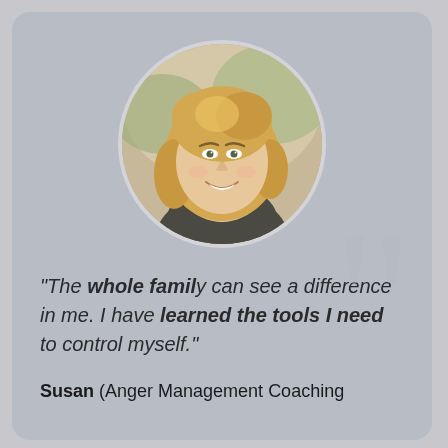[Figure (photo): Circular portrait photo of a smiling blonde woman]
"The whole family can see a difference in me. I have learned the tools I need to control myself."
Susan (Anger Management Coaching